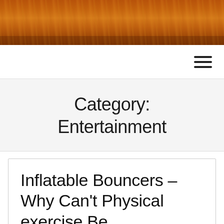[Figure (photo): Golden wheat field background image in warm amber and orange tones]
Navigation bar with hamburger menu icon
Category:
Entertainment
Inflatable Bouncers – Why Can't Physical exercise Be